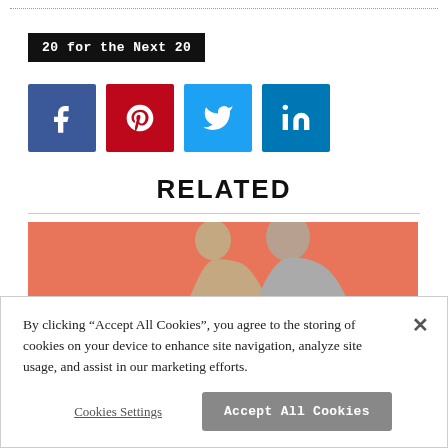20 for the Next 20
[Figure (infographic): Social sharing icons: Facebook (blue), Pinterest (red), Twitter (light blue), LinkedIn (dark blue)]
RELATED
[Figure (photo): Two people against a coral/salmon colored background]
By clicking "Accept All Cookies", you agree to the storing of cookies on your device to enhance site navigation, analyze site usage, and assist in our marketing efforts.
Cookies Settings
Accept All Cookies